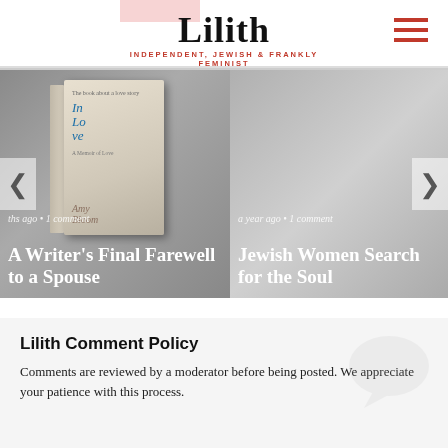Lilith — INDEPENDENT, JEWISH & FRANKLY FEMINIST
[Figure (photo): Book cover image of 'In Love: A Memoir' by Amy Bloom, shown as a 3D book]
ths ago • 1 comment
A Writer's Final Farewell to a Spouse
a year ago • 1 comment
Jewish Women Search for the Soul
Lilith Comment Policy
Comments are reviewed by a moderator before being posted. We appreciate your patience with this process.